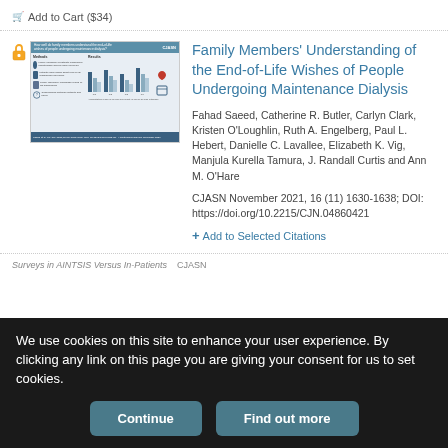Add to Cart ($34)
[Figure (illustration): Thumbnail image of a CJASN article about family members understanding end-of-life wishes of people undergoing maintenance dialysis, showing a visual abstract with methods and results sections including bar charts and icons.]
Family Members’ Understanding of the End-of-Life Wishes of People Undergoing Maintenance Dialysis
Fahad Saeed, Catherine R. Butler, Carlyn Clark, Kristen O’Loughlin, Ruth A. Engelberg, Paul L. Hebert, Danielle C. Lavallee, Elizabeth K. Vig, Manjula Kurella Tamura, J. Randall Curtis and Ann M. O’Hare
CJASN November 2021, 16 (11) 1630-1638; DOI: https://doi.org/10.2215/CJN.04860421
+ Add to Selected Citations
We use cookies on this site to enhance your user experience. By clicking any link on this page you are giving your consent for us to set cookies.